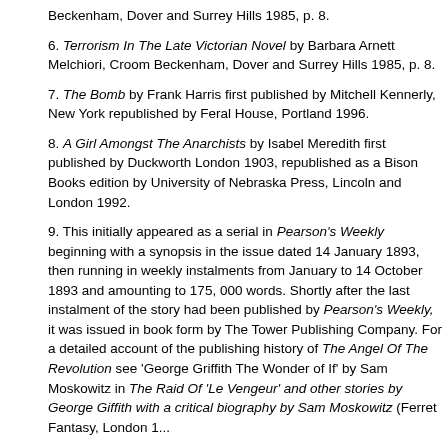Beckenham, Dover and Surrey Hills 1985, p. 8.
6. Terrorism In The Late Victorian Novel by Barbara Arnett Melchiori, Croom Beckenham, Dover and Surrey Hills 1985, p. 8.
7. The Bomb by Frank Harris first published by Mitchell Kennerly, New York republished by Feral House, Portland 1996.
8. A Girl Amongst The Anarchists by Isabel Meredith first published by Duckworth London 1903, republished as a Bison Books edition by University of Nebraska Press, Lincoln and London 1992.
9. This initially appeared as a serial in Pearson's Weekly beginning with a synopsis in the issue dated 14 January 1893, then running in weekly instalments from January to 14 October 1893 and amounting to 175, 000 words. Shortly after the last instalment of the story had been published by Pearson's Weekly, it was issued in book form by The Tower Publishing Company. For a detailed account of the publishing history of The Angel Of The Revolution see 'George Griffith The Wonder of If' by Sam Moskowitz in The Raid Of 'Le Vengeur' and other stories by George Giffith with a critical biography by Sam Moskowitz (Ferret Fantasy, London 1...
10. Terrorism In The Late Victorian Novel by Barbara Arnett Melchiori, Croom Beckenham, Dover and Surrey Hills 1985, p. 132.
11. The Man Who Was Thursday by G. K. Chesterton first published 1908, republished Penguin, Harmondsworth 1972. It would be futile to attempt producing an exhaustive list of novels featuring anarchist characters or anarchism as a theme - but to...